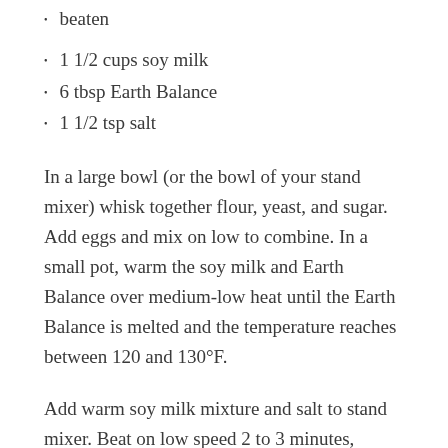beaten
1 1/2 cups soy milk
6 tbsp Earth Balance
1 1/2 tsp salt
In a large bowl (or the bowl of your stand mixer) whisk together flour, yeast, and sugar. Add eggs and mix on low to combine. In a small pot, warm the soy milk and Earth Balance over medium-low heat until the Earth Balance is melted and the temperature reaches between 120 and 130°F.
Add warm soy milk mixture and salt to stand mixer. Beat on low speed 2 to 3 minutes, occasionally scraping down sides of bowl with a spatula. Beat on medium speed until smooth and elastic, approximately 2 to 3 minutes more. The dough will be very sticky.